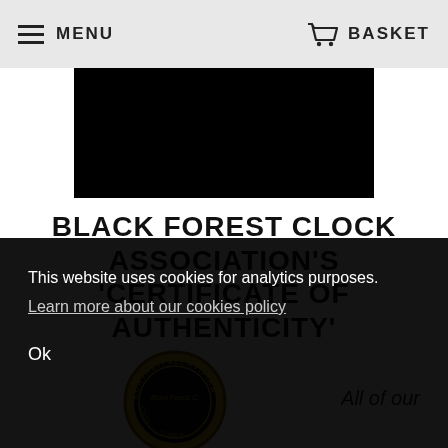MENU   BASKET
[Figure (photo): Black rectangle placeholder image]
BLACK FOREST CLOCK ASSOCIATION'S 'CERTIFICATE OF AUTHENTICITY'
[Figure (logo): Circular seal/badge with gold and black colors reading 'Echthheitszertifika... Black Forest C...' with decorative border]
All of our
This website uses cookies for analytics purposes. Learn more about our cookies policy
Ok